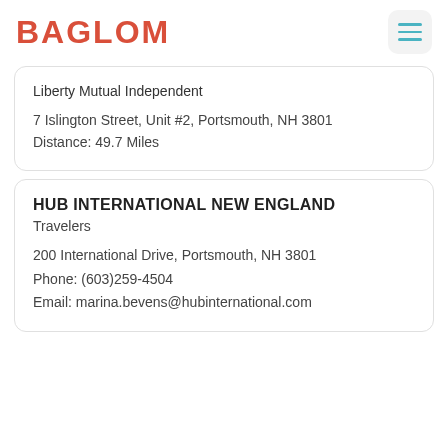BAGLOM
Liberty Mutual Independent

7 Islington Street, Unit #2, Portsmouth, NH 3801
Distance: 49.7 Miles
HUB INTERNATIONAL NEW ENGLAND
Travelers

200 International Drive, Portsmouth, NH 3801
Phone: (603)259-4504
Email: marina.bevens@hubinternational.com